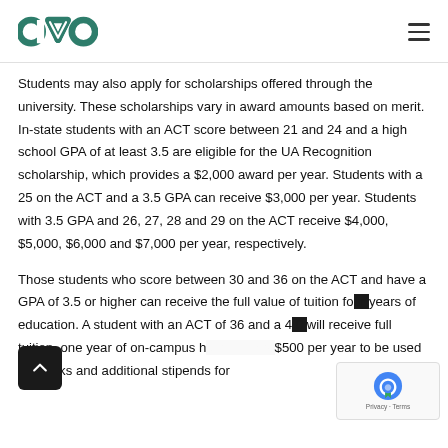CVO
Students may also apply for scholarships offered through the university. These scholarships vary in award amounts based on merit. In-state students with an ACT score between 21 and 24 and a high school GPA of at least 3.5 are eligible for the UA Recognition scholarship, which provides a $2,000 award per year. Students with a 25 on the ACT and a 3.5 GPA can receive $3,000 per year. Students with 3.5 GPA and 26, 27, 28 and 29 on the ACT receive $4,000, $5,000, $6,000 and $7,000 per year, respectively.
Those students who score between 30 and 36 on the ACT and have a GPA of 3.5 or higher can receive the full value of tuition for four years of education. A student with an ACT of 36 and a 4.0 will receive full tuition, one year of on-campus h... $500 per year to be used for books and additional stipends for